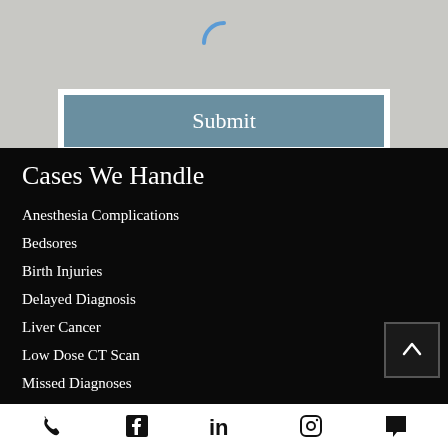[Figure (screenshot): Loading spinner icon (blue crescent) above a Submit button on a light gray form background]
Cases We Handle
Anesthesia Complications
Bedsores
Birth Injuries
Delayed Diagnosis
Liver Cancer
Low Dose CT Scan
Missed Diagnoses
Surgical Errors
Radiology Mistakes
Nursing Home Abuse
Phone | Facebook | LinkedIn | Instagram | Chat icons